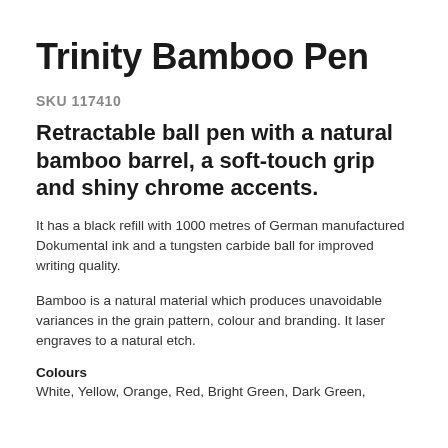Trinity Bamboo Pen
SKU 117410
Retractable ball pen with a natural bamboo barrel, a soft-touch grip and shiny chrome accents.
It has a black refill with 1000 metres of German manufactured Dokumental ink and a tungsten carbide ball for improved writing quality.
Bamboo is a natural material which produces unavoidable variances in the grain pattern, colour and branding. It laser engraves to a natural etch.
Colours
White, Yellow, Orange, Red, Bright Green, Dark Green,